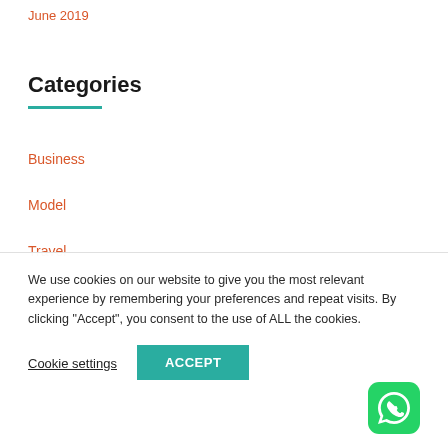June 2019
Categories
Business
Model
Travel
We use cookies on our website to give you the most relevant experience by remembering your preferences and repeat visits. By clicking “Accept”, you consent to the use of ALL the cookies.
Cookie settings ACCEPT